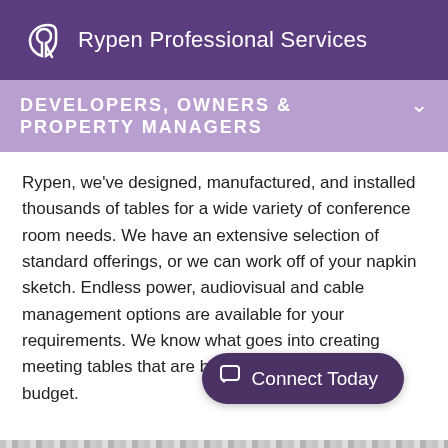Rypen Professional Services
DEVELOPERS, OWNERS & PROPERTY MANAGERS
Rypen, we've designed, manufactured, and installed thousands of tables for a wide variety of conference room needs. We have an extensive selection of standard offerings, or we can work off of your napkin sketch. Endless power, audiovisual and cable management options are available for your requirements. We know what goes into creating meeting tables that are beautiful, practical and on budget.
Connect Today